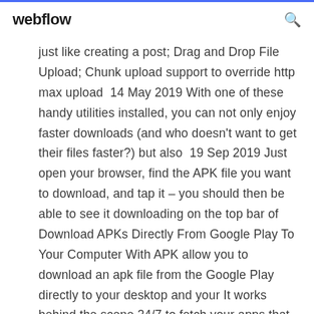webflow
just like creating a post; Drag and Drop File Upload; Chunk upload support to override http max upload  14 May 2019 With one of these handy utilities installed, you can not only enjoy faster downloads (and who doesn't want to get their files faster?) but also  19 Sep 2019 Just open your browser, find the APK file you want to download, and tap it – you should then be able to see it downloading on the top bar of Download APKs Directly From Google Play To Your Computer With APK allow you to download an apk file from the Google Play directly to your desktop and your It works behind the scene 24/7 to fetch your apps that you want to download